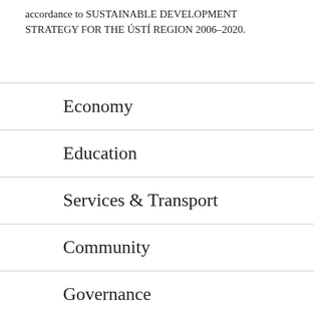accordance to SUSTAINABLE DEVELOPMENT STRATEGY FOR THE ÚSTÍ REGION 2006–2020.
Economy
Education
Services & Transport
Community
Governance